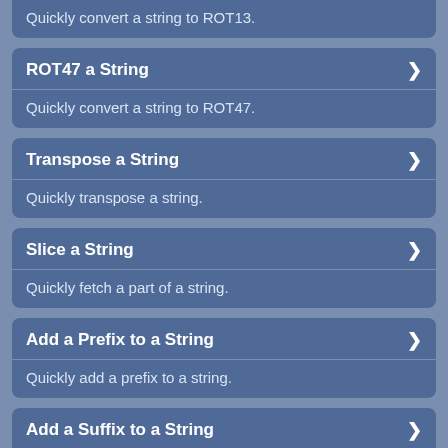Quickly convert a string to ROT13.
ROT47 a String
Quickly convert a string to ROT47.
Transpose a String
Quickly transpose a string.
Slice a String
Quickly fetch a part of a string.
Add a Prefix to a String
Quickly add a prefix to a string.
Add a Suffix to a String
Quickly add a suffix to a string.
Convert Spaces to Newlines
Quickly convert spaces to newlines in a string.